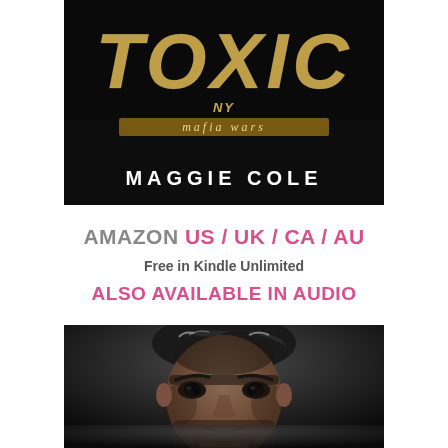[Figure (illustration): Book cover for 'Toxic' by Maggie Cole — NY Mafia Wars series. Dark background with large gold glittery stylized title text 'TOXIC', gold script 'mafia wars' subtitle, and white author name 'MAGGIE COLE' at bottom.]
AMAZON US / UK / CA / AU
Free in Kindle Unlimited
ALSO AVAILABLE IN AUDIO
[Figure (photo): Close-up photo of a dark, brooding man with salt-and-pepper styled hair, strong facial features, dark eyes, and beard stubble, looking intensely at the camera against a dark background.]